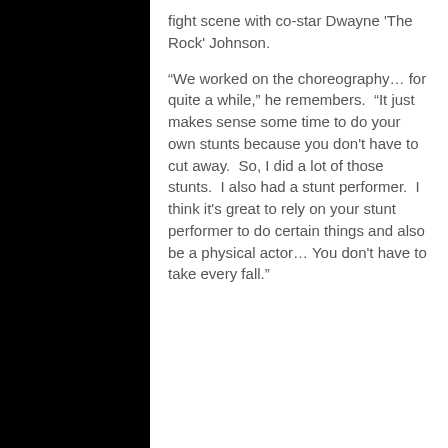fight scene with co-star Dwayne 'The Rock' Johnson.
“We worked on the choreography… for quite a while,” he remembers.  “It just makes sense some time to do your own stunts because you don't have to cut away.  So, I did a lot of those stunts.  I also had a stunt performer.  I think it's great to rely on your stunt performer to do certain things and also be a physical actor… You don't have to take every fall.”